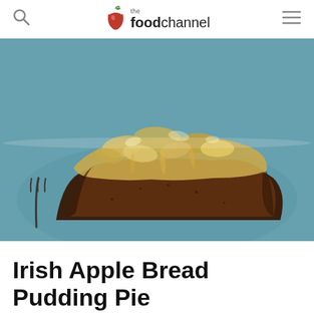the foodchannel
[Figure (photo): A slice of Irish Apple Bread Pudding Pie served on a teal/blue plate, showing caramelized apple topping with a moist brown bread pudding base]
Irish Apple Bread Pudding Pie